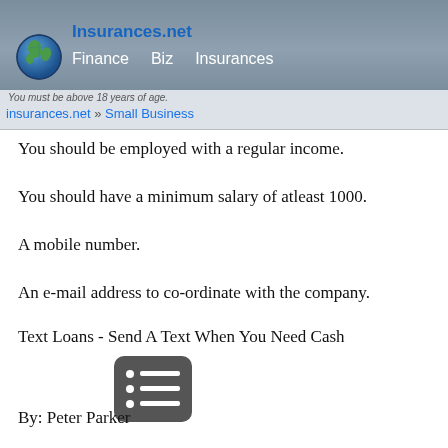Insurances.net — Finance  Biz  Insurances
You must be above 18 years of age.
insurances.net » Small Business
You should be employed with a regular income.
You should have a minimum salary of atleast 1000.
A mobile number.
An e-mail address to co-ordinate with the company.
Text Loans - Send A Text When You Need Cash
By: Peter Parker